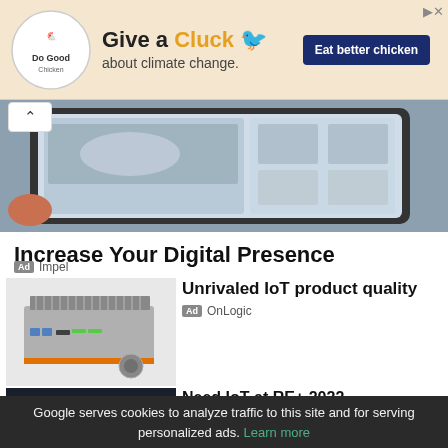[Figure (illustration): Ad banner for Do Good Chicken: circular logo with a chicken, large text 'Give a Cluck about climate change.' with a chicken illustration, and a dark blue button 'Eat better chicken']
[Figure (photo): Person holding a tablet showing a car website with automotive interface]
Increase Your Digital Presence
Ad  Impel
[Figure (photo): IoT product: industrial black and orange computing device/embedded computer]
Unrivaled IoT product quality
Ad  OnLogic
[Figure (illustration): Dark advertisement showing IoT icons (heart, car, infrastructure) on dark background]
Need IoT at RE+ 2022 - Make Solar Products
Google serves cookies to analyze traffic to this site and for serving personalized ads. Learn more